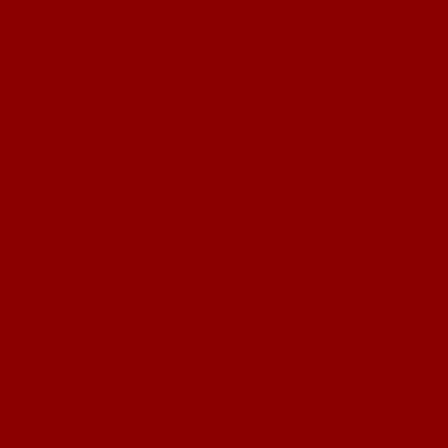reintroduce a military draft. For the moment this ap Syria, Iran, or North Korea. But those of us with co several members of Congress have already introduc
8. Modest, or At Least "Acceptable," Costs.
The la mounted at a relatively modest, or at least politically costs, but also human lives, and "opportunity costs" a
Evidently it was assumed by some planners -- Assi that Iraq's oil production would resume quickly enou the costs of the War. It was also assumed that, as Saddam's demise, and that the new Iraqi police fo fraction of their cost. Finally, the super-optimists in th the War's freight would be paid by other UN mem permitted to rule on the final decision to go to war.
Reality Check, Please: The reality is that, just one ye cash and lives.
The Pentagon's cost accounting for this effort is insc easy to know precisely what fraction of, say, a hos aircraft is properly assignable to a specific front. Ho the Iraq venture at about $175-$180 billion, includin has to be deficit financed.
Going forward, there is now a continuing "run rate" this is close to the peak $5.1 billion per month ru costs incurred by the UK and other Coalition memb troops.
Nor is Iraqi oil production anywhere close to covering recovered to its pre-War levels, and the cost of ser